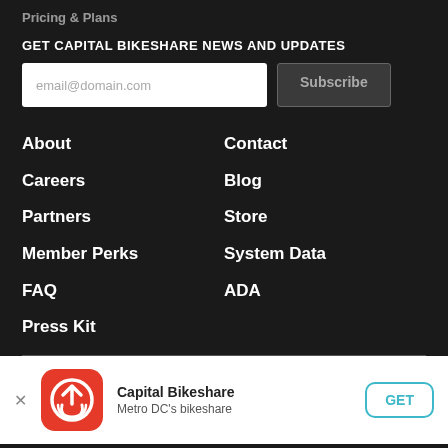Pricing & Plans
GET CAPITAL BIKESHARE NEWS AND UPDATES
email@domain.com [input field] Subscribe [button]
About
Contact
Careers
Blog
Partners
Store
Member Perks
System Data
FAQ
ADA
Press Kit
[Figure (other): Capital Bikeshare app download banner with red icon, app name 'Capital Bikeshare', subtitle 'Metro DC's bikeshare', and a GET button]